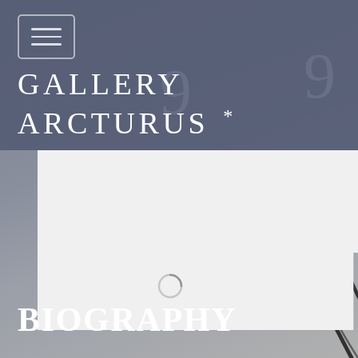[Figure (screenshot): Gallery Arcturus website screenshot showing header with logo text 'GALLERY ARCTURUS *' on a blue-grey overlay background, a white content panel with loading spinner, and dark diagonal lines from an artwork visible in the background. A hamburger menu button is in the top-left corner.]
GALLERY ARCTURUS *
Biography